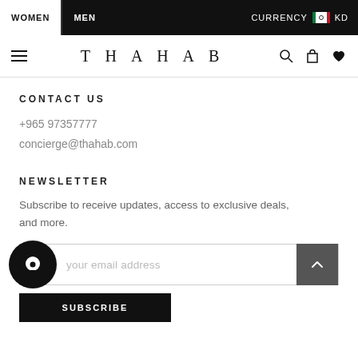WOMEN  MEN  CURRENCY KD
T H A H A B
CONTACT US
+965 97357777
concierge@thahab.com
NEWSLETTER
Subscribe to receive updates, access to exclusive deals, and more.
your email address